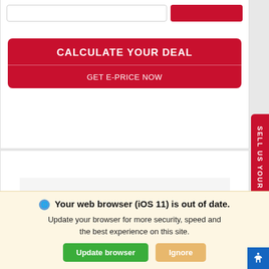[Figure (screenshot): Red button labeled CALCULATE YOUR DEAL with GET E-PRICE NOW below it, inside a white card on a car dealership website]
CALCULATE YOUR DEAL
GET E-PRICE NOW
[Figure (photo): White SUV vehicle (rear three-quarter view) shown in the lower section of a car dealership website]
SELL US YOUR CAR
Your web browser (iOS 11) is out of date. Update your browser for more security, speed and the best experience on this site.
Update browser
Ignore